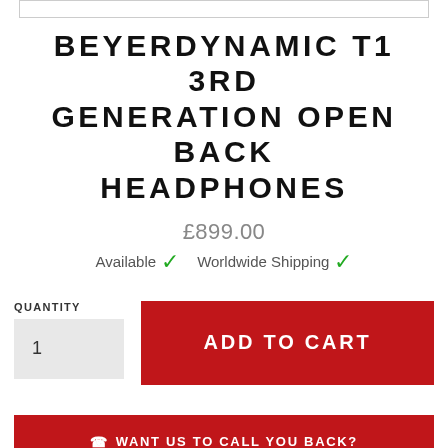BEYERDYNAMIC T1 3RD GENERATION OPEN BACK HEADPHONES
£899.00
Available ✓  Worldwide Shipping ✓
QUANTITY
1
ADD TO CART
☎ WANT US TO CALL YOU BACK?